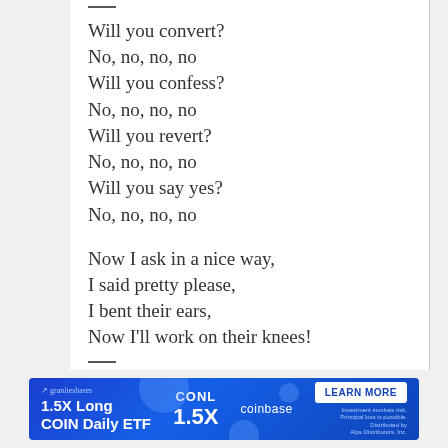Will you convert?
No, no, no, no
Will you confess?
No, no, no, no
Will you revert?
No, no, no, no
Will you say yes?
No, no, no, no

Now I ask in a nice way,
I said pretty please,
I bent their ears,
Now I'll work on their knees!
[Figure (infographic): Blue advertisement banner for '1.5X Long COIN Daily ETF' by graniteshares, featuring CONL 1.5X text, Coinbase logo, and a LEARN MORE button with disclaimer text. Close (X) button in top right corner.]